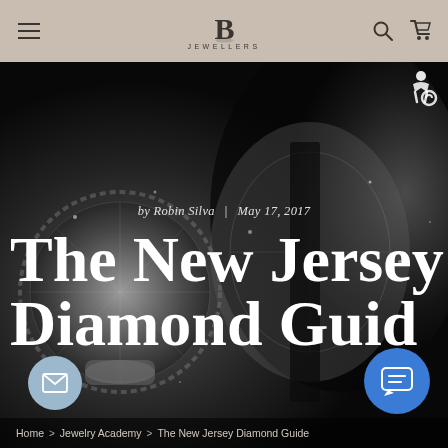B Jewellers navigation bar with hamburger menu, logo, search and cart icons
[Figure (photo): Dark background photo of sparkling diamond jewelry rings close-up in black and white tones]
by Robin Silva | May 17, 2017
The New Jersey Diamond Guide
Home > Jewelry Academy > The New Jersey Diamond Guide